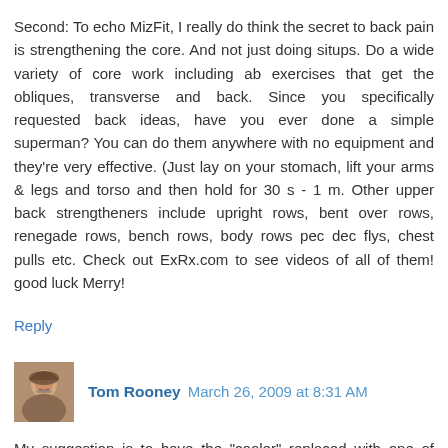Second: To echo MizFit, I really do think the secret to back pain is strengthening the core. And not just doing situps. Do a wide variety of core work including ab exercises that get the obliques, transverse and back. Since you specifically requested back ideas, have you ever done a simple superman? You can do them anywhere with no equipment and they're very effective. (Just lay on your stomach, lift your arms & legs and torso and then hold for 30 s - 1 m. Other upper back strengtheners include upright rows, bent over rows, renegade rows, bench rows, body rows pec dec flys, chest pulls etc. Check out ExRx.com to see videos of all of them! good luck Merry!
Reply
Tom Rooney  March 26, 2009 at 8:31 AM
My suggestion is to have the "cooler" replaced with one of them new fangled taps which continuously gives water until the reservoir or well runs dry. They work real simple by turning a knob or lifting a leaver to dispense as much or as